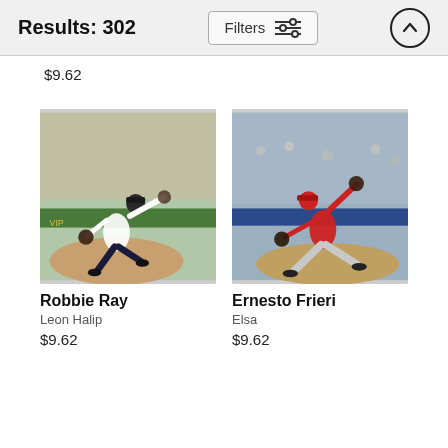Results: 302
$9.62
[Figure (photo): Baseball pitcher Robbie Ray in white Detroit Tigers uniform mid-pitch on the mound]
Robbie Ray
Leon Halip
$9.62
[Figure (photo): Baseball pitcher Ernesto Frieri in red Angels uniform mid-pitch on the mound]
Ernesto Frieri
Elsa
$9.62